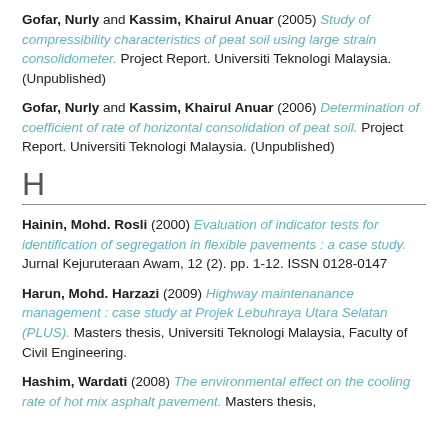Gofar, Nurly and Kassim, Khairul Anuar (2005) Study of compressibility characteristics of peat soil using large strain consolidometer. Project Report. Universiti Teknologi Malaysia. (Unpublished)
Gofar, Nurly and Kassim, Khairul Anuar (2006) Determination of coefficient of rate of horizontal consolidation of peat soil. Project Report. Universiti Teknologi Malaysia. (Unpublished)
H
Hainin, Mohd. Rosli (2000) Evaluation of indicator tests for identification of segregation in flexible pavements : a case study. Jurnal Kejuruteraan Awam, 12 (2). pp. 1-12. ISSN 0128-0147
Harun, Mohd. Harzazi (2009) Highway maintenanance management : case study at Projek Lebuhraya Utara Selatan (PLUS). Masters thesis, Universiti Teknologi Malaysia, Faculty of Civil Engineering.
Hashim, Wardati (2008) The environmental effect on the cooling rate of hot mix asphalt pavement. Masters thesis,